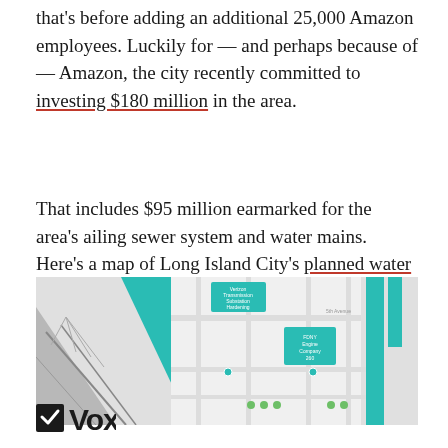that's before adding an additional 25,000 Amazon employees. Luckily for — and perhaps because of — Amazon, the city recently committed to investing $180 million in the area.
That includes $95 million earmarked for the area's ailing sewer system and water mains. Here's a map of Long Island City's planned water and sewer improvements.
[Figure (map): Map of Long Island City showing planned water and sewer improvements, with teal/turquoise colored blocks and streets visible, including labels for Verizon Transmission Substation Hardening and FDNY Engine Company 260 Resiliency.]
[Figure (logo): Vox media logo — bold black sans-serif text reading 'Vox' with a square checkbox icon to the left.]